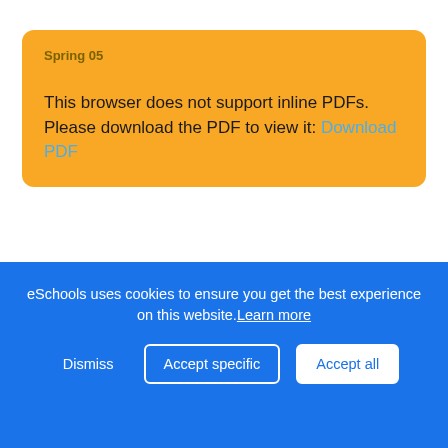Spring 05
This browser does not support inline PDFs. Please download the PDF to view it: Download PDF
Spring 04
This browser does not support inline PDFs. Please download the PDF to view it: Download PDF
eSchools uses cookies to ensure you get the best experience on this website. Learn more
Dismiss  Accept specific  Accept all